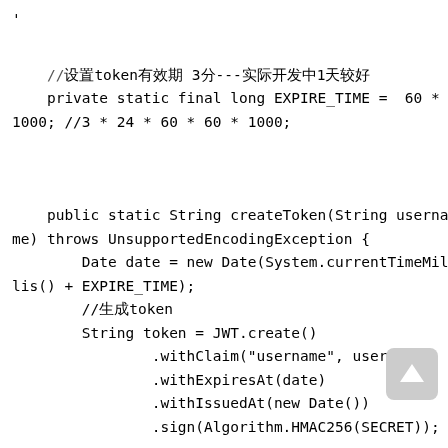',

    //设token有效期 3分---实际开发中1天较好
    private static final long EXPIRE_TIME =  60 *
1000; //3 * 24 * 60 * 60 * 1000;


    public static String createToken(String username) throws UnsupportedEncodingException {
        Date date = new Date(System.currentTimeTimeMil
lis() + EXPIRE_TIME);
        //生成token
        String token = JWT.create()
                .withClaim("username", username)
                .withExpiresAt(date)
                .withIssuedAt(new Date())
                .sign(Algorithm.HMAC256(SECRET));